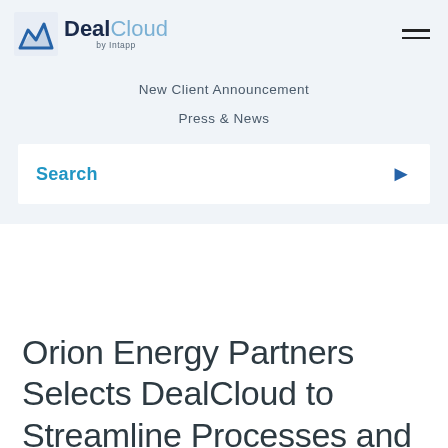DealCloud by Intapp
New Client Announcement
Press & News
Search
Orion Energy Partners Selects DealCloud to Streamline Processes and Increase